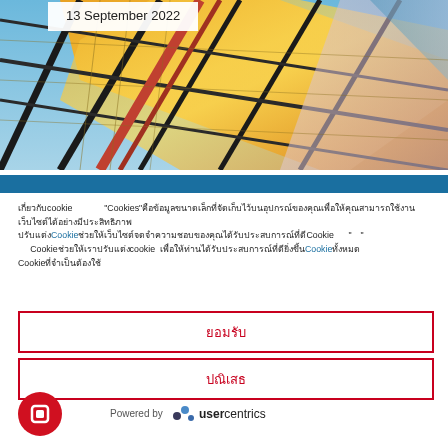[Figure (photo): Close-up of a modern glass building facade with golden/orange reflections and steel structural elements — architectural abstract photo]
13 September 2022
เกี่ยวกับcookie  "Cookies"คือข้อมูลขนาดเล็กที่จัดเก็บไว้บนอุปกรณ์ของคุณเพื่อให้คุณสามารถใช้งานเว็บไซต์ได้อย่างมีประสิทธิภาพCookieช่วยให้เว็บไซต์จดจำความชอบของคุณได้Cookie " " Cookieช่วยให้เราปรับแต่งcookie เพื่อให้ท่านได้รับประสบการณ์ที่ดียิ่งขึ้นCookieทั้งหมด Cookieที่จำเป็นต้องใช้
ยอมรับ
ปฏิเสธ
Powered by  usercentrics